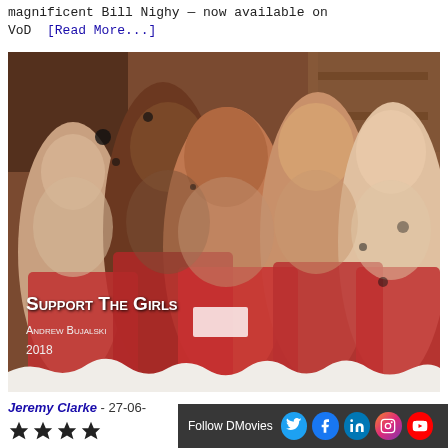magnificent Bill Nighy — now available on VoD [Read More...]
[Figure (photo): Movie promotional image for 'Support The Girls' (2018) directed by Andrew Bujalski. Shows five young women in red tops hugging together and smiling. Text overlay shows title 'Support The Girls', director 'Andrew Bujalski', and year '2018'.]
Jeremy Clarke - 27-06-
Follow DMovies [Twitter] [Facebook] [LinkedIn] [Instagram] [YouTube]